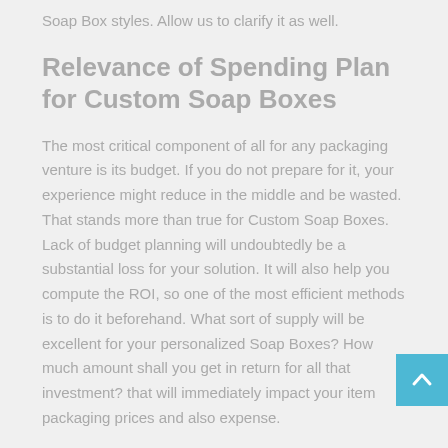Soap Box styles. Allow us to clarify it as well.
Relevance of Spending Plan for Custom Soap Boxes
The most critical component of all for any packaging venture is its budget. If you do not prepare for it, your experience might reduce in the middle and be wasted. That stands more than true for Custom Soap Boxes. Lack of budget planning will undoubtedly be a substantial loss for your solution. It will also help you compute the ROI, so one of the most efficient methods is to do it beforehand. What sort of supply will be excellent for your personalized Soap Boxes? How much amount shall you get in return for all that investment? that will immediately impact your item packaging prices and also expense.